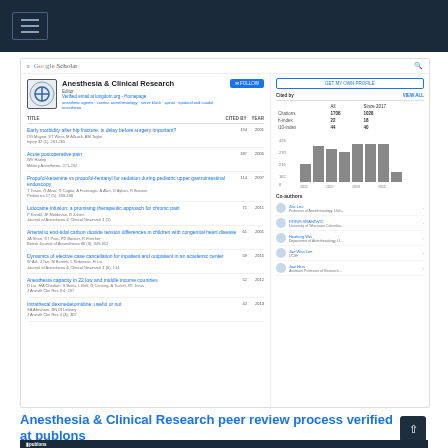[Figure (screenshot): Google Scholar profile page for Anesthesia & Clinical Research journal showing citation metrics, article list, bar chart of citations by year, and co-authors panel]
Anesthesia & Clinical Research peer review process verified at publons
[Figure (screenshot): Publons website header strip showing Journal of Anesthesia & Clinical Research]